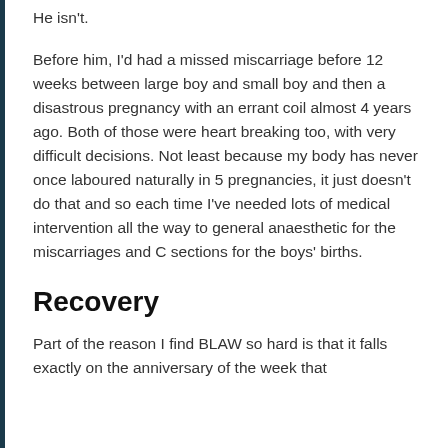He isn't.
Before him, I'd had a missed miscarriage before 12 weeks between large boy and small boy and then a disastrous pregnancy with an errant coil almost 4 years ago. Both of those were heart breaking too, with very difficult decisions. Not least because my body has never once laboured naturally in 5 pregnancies, it just doesn't do that and so each time I've needed lots of medical intervention all the way to general anaesthetic for the miscarriages and C sections for the boys' births.
Recovery
Part of the reason I find BLAW so hard is that it falls exactly on the anniversary of the week that we found out our pregnancy was not with us. I…